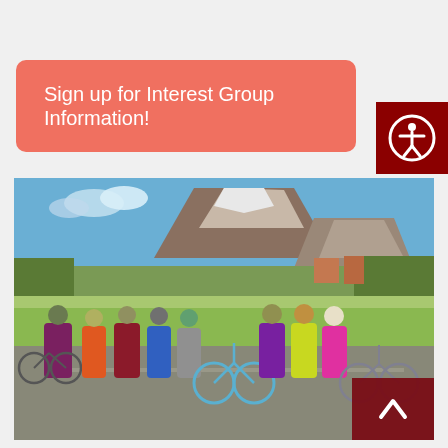Sign up for Interest Group Information!
[Figure (photo): Group of cyclists wearing helmets and colorful jerseys posing with their bicycles on a road, with a large mountain with snow-capped peak in the background and green fields and trees visible.]